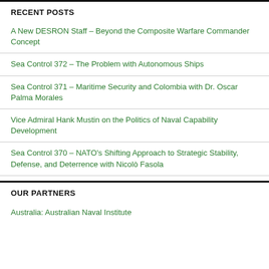RECENT POSTS
A New DESRON Staff – Beyond the Composite Warfare Commander Concept
Sea Control 372 – The Problem with Autonomous Ships
Sea Control 371 – Maritime Security and Colombia with Dr. Oscar Palma Morales
Vice Admiral Hank Mustin on the Politics of Naval Capability Development
Sea Control 370 – NATO's Shifting Approach to Strategic Stability, Defense, and Deterrence with Nicolò Fasola
OUR PARTNERS
Australia: Australian Naval Institute